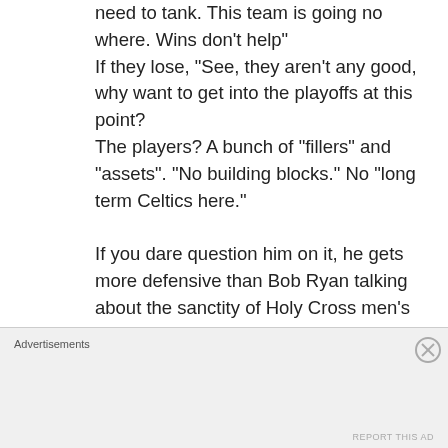need to tank. This team is going no where. Wins don't help"
If they lose, "See, they aren't any good, why want to get into the playoffs at this point?
The players? A bunch of "fillers" and "assets". "No building blocks." No "long term Celtics here."

If you dare question him on it, he gets more defensive than Bob Ryan talking about the sanctity of Holy Cross men's
Advertisements